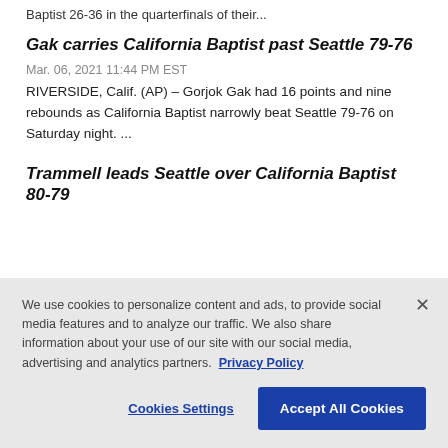Baptist 26-36 in the quarterfinals of their...
Gak carries California Baptist past Seattle 79-76
Mar. 06, 2021 11:44 PM EST
RIVERSIDE, Calif. (AP) – Gorjok Gak had 16 points and nine rebounds as California Baptist narrowly beat Seattle 79-76 on Saturday night. ...
Trammell leads Seattle over California Baptist 80-79
We use cookies to personalize content and ads, to provide social media features and to analyze our traffic. We also share information about your use of our site with our social media, advertising and analytics partners. Privacy Policy
Cookies Settings | Accept All Cookies